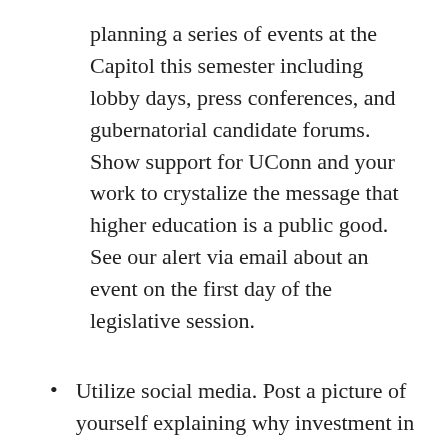planning a series of events at the Capitol this semester including lobby days, press conferences, and gubernatorial candidate forums. Show support for UConn and your work to crystalize the message that higher education is a public good. See our alert via email about an event on the first day of the legislative session.
Utilize social media. Post a picture of yourself explaining why investment in UConn is important to you and your community. Use the hashtag #UConnWorksforCT. Be sure to send a